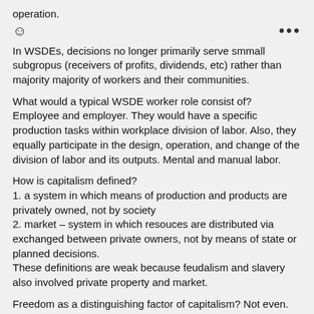operation.
☺
In WSDEs, decisions no longer primarily serve smmall subgropus (receivers of profits, dividends, etc) rather than majority majority of workers and their communities.
What would a typical WSDE worker role consist of?
Employee and employer. They would have a specific production tasks within workplace division of labor. Also, they equally participate in the design, operation, and change of the division of labor and its outputs. Mental and manual labor.
How is capitalism defined?
1. a system in which means of production and products are privately owned, not by society
2. market – system in which resouces are distributed via exchanged between private owners, not by means of state or planned decisions.
These definitions are weak because feudalism and slavery also involved private property and market.
Freedom as a distinguishing factor of capitalism? Not even.
Workers are not free because to live even minimally, they must work